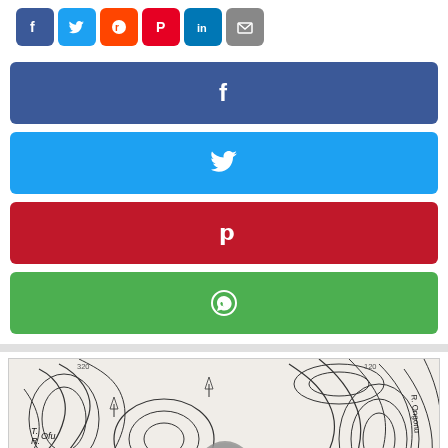[Figure (other): Row of social media icon buttons: Facebook, Twitter, Reddit, Pinterest, LinkedIn, Email]
[Figure (other): Facebook share button (blue bar with f icon)]
[Figure (other): Twitter share button (light blue bar with bird icon)]
[Figure (other): Pinterest share button (red bar with P icon)]
[Figure (other): WhatsApp share button (green bar with phone/chat icon)]
[Figure (map): Topographic map showing contour lines, roads, and place names including R. Ofu, Leper hosp., Ps Dakka, Lero, R. Ongonu. A circular navigation arrow overlay appears in the center.]